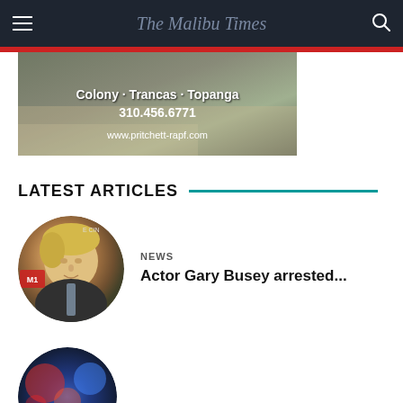The Malibu Times
[Figure (photo): Advertisement banner with text: Colony · Trancas · Topanga, 310.456.6771, www.pritchett-rapf.com]
LATEST ARTICLES
[Figure (photo): Circular portrait photo of actor Gary Busey at a cinema event]
NEWS
Actor Gary Busey arrested...
[Figure (photo): Circular photo showing police lights, partial text NS visible]